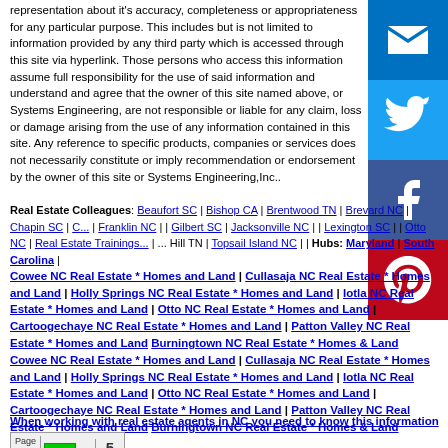representation about it's accuracy, completeness or appropriateness for any particular purpose. This includes but is not limited to information provided by any third party which is accessed through this site via hyperlink. Those persons who access this information assume full responsibility for the use of said information and understand and agree that the owner of this site named above, or Systems Engineering, are not responsible or liable for any claim, loss or damage arising from the use of any information contained in this site. Any reference to specific products, companies or services does not necessarily constitute or imply recommendation or endorsement by the owner of this site or Systems Engineering,Inc..
Real Estate Colleagues: Beaufort SC | Bishop CA | Brentwood TN | Brevard NC | Chapin SC | C... | Franklin NC | | Gilbert SC | Jacksonville NC | | Lexington SC | | Otto NC | Real Estate Trainings... | ... Hill TN | Topsail Island NC | | Hubs: Maryland | South Carolina |
Cowee NC Real Estate * Homes and Land | Cullasaja NC Real Estate * Homes and Land | Holly Springs NC Real Estate * Homes and Land | Iotla NC Real Estate * Homes and Land | Otto NC Real Estate * Homes and Land | Cartoogechaye NC Real Estate * Homes and Land | Patton Valley NC Real Estate * Homes and Land Burningtown NC Real Estate * Homes & Land
Cowee NC Real Estate * Homes and Land | Cullasaja NC Real Estate * Homes and Land | Holly Springs NC Real Estate * Homes and Land | Iotla NC Real Estate * Homes and Land | Otto NC Real Estate * Homes and Land | Cartoogechaye NC Real Estate * Homes and Land | Patton Valley NC Real Estate * Homes and Land Burningtown NC Real Estate * Homes & Land
When working with real estate agents in NC you need to know this information